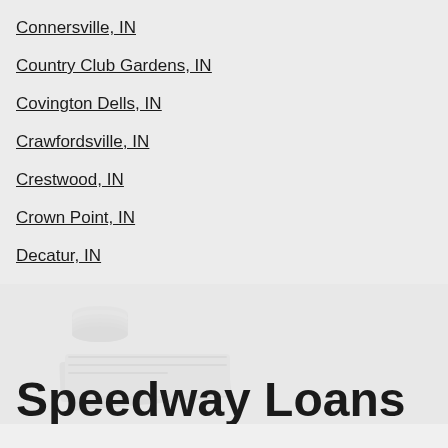Connersville, IN
Country Club Gardens, IN
Covington Dells, IN
Crawfordsville, IN
Crestwood, IN
Crown Point, IN
Decatur, IN
Speedway Loans